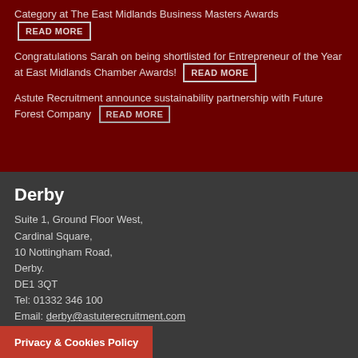Category at The East Midlands Business Masters Awards READ MORE
Congratulations Sarah on being shortlisted for Entrepreneur of the Year at East Midlands Chamber Awards! READ MORE
Astute Recruitment announce sustainability partnership with Future Forest Company READ MORE
Derby
Suite 1, Ground Floor West,
Cardinal Square,
10 Nottingham Road,
Derby.
DE1 3QT
Tel: 01332 346 100
Email: derby@astuterecruitment.com
Nottingham
Privacy & Cookies Policy